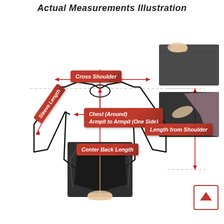Actual Measurements Illustration
[Figure (illustration): Clothing measurement diagram showing a jacket outline with labeled arrows indicating Cross Shoulder, Sleeve Length, Chest (Around) Armpit to Armpit (One Side), Center Back Length, Length from Shoulder measurements. Reference photos of actual garment measurements are shown on the right side and center bottom.]